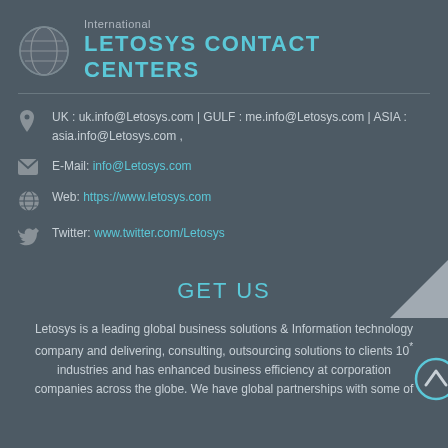International
LETOSYS CONTACT CENTERS
UK : uk.info@Letosys.com | GULF : me.info@Letosys.com | ASIA : asia.info@Letosys.com ,
E-Mail: info@Letosys.com
Web: https://www.letosys.com
Twitter: www.twitter.com/Letosys
GET US
Letosys is a leading global business solutions & Information technology company and delivering, consulting, outsourcing solutions to clients 10* industries and has enhanced business efficiency at corporation companies across the globe. We have global partnerships with some of